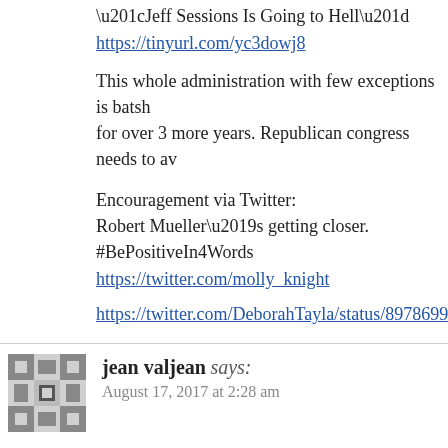“Jeff Sessions Is Going to Hell”
https://tinyurl.com/yc3dowj8
This whole administration with few exceptions is batsh... for over 3 more years. Republican congress needs to av...
Encouragement via Twitter:
Robert Mueller’s getting closer. #BePositiveIn4Words
https://twitter.com/molly_knight
https://twitter.com/DeborahTayla/status/897869993850...
jean valjean says:
August 17, 2017 at 2:28 am
Did you ever wonder what happened to Miss Teen Sou... on to marry Jared Kushner and now holds a “no show j...